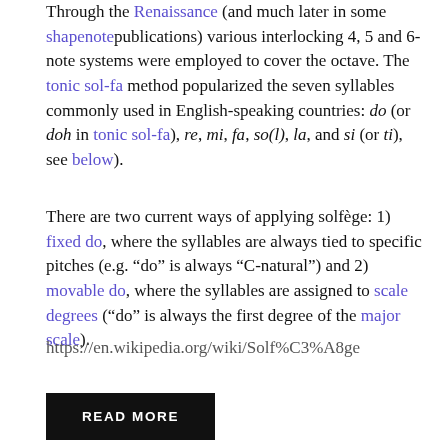Through the Renaissance (and much later in some shapenote publications) various interlocking 4, 5 and 6-note systems were employed to cover the octave. The tonic sol-fa method popularized the seven syllables commonly used in English-speaking countries: do (or doh in tonic sol-fa), re, mi, fa, so(l), la, and si (or ti), see below).
There are two current ways of applying solfège: 1) fixed do, where the syllables are always tied to specific pitches (e.g. “do” is always “C-natural”) and 2) movable do, where the syllables are assigned to scale degrees (“do” is always the first degree of the major scale).
https://en.wikipedia.org/wiki/Solf%C3%A8ge
READ MORE